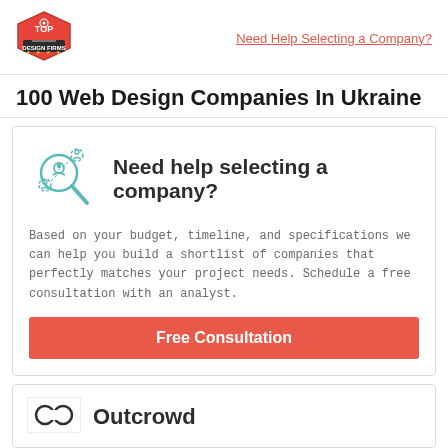[Figure (logo): Top Design Firms red hexagon badge logo]
Need Help Selecting a Company?
100 Web Design Companies In Ukraine
[Figure (illustration): Magnifying glass with person icons illustration]
Need help selecting a company?
Based on your budget, timeline, and specifications we can help you build a shortlist of companies that perfectly matches your project needs. Schedule a free consultation with an analyst.
Free Consultation
[Figure (logo): Outcrowd company logo with infinity-like symbol]
Outcrowd